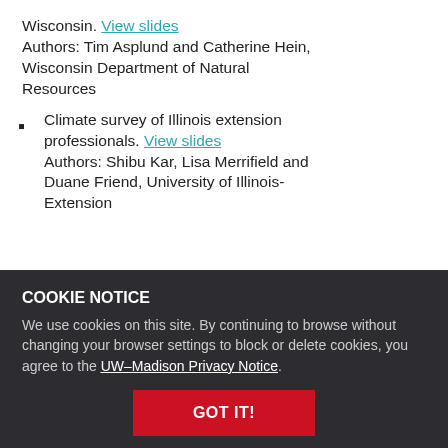Wisconsin. View slides Authors: Tim Asplund and Catherine Hein, Wisconsin Department of Natural Resources
Climate survey of Illinois extension professionals. View slides Authors: Shibu Kar, Lisa Merrifield and Duane Friend, University of Illinois-Extension
Working in Watersheds in Times of Change: ... surface water research program ... community college Gene Miers ...
COOKIE NOTICE
We use cookies on this site. By continuing to browse without changing your browser settings to block or delete cookies, you agree to the UW–Madison Privacy Notice.